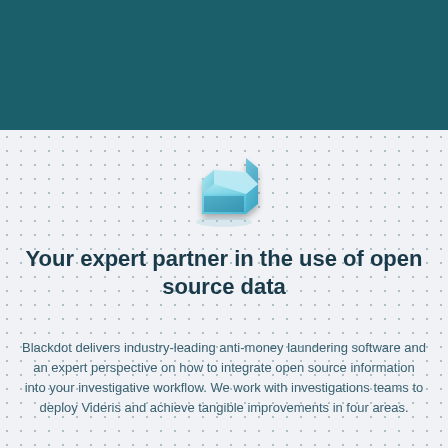[Figure (illustration): A 3D blue/teal isometric open box icon with gradient shading, representing open source data or a software package.]
Your expert partner in the use of open source data
Blackdot delivers industry-leading anti-money laundering software and an expert perspective on how to integrate open source information into your investigative workflow. We work with investigations teams to deploy Videris and achieve tangible improvements in four areas.